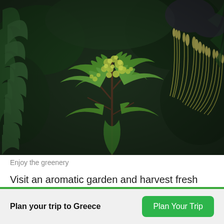[Figure (photo): Close-up photo of green wild plants with feathery serrated leaves and small clustered flower buds, set against a dark green leafy background. Natural garden scene with rich green tones.]
Enjoy the greenery
Visit an aromatic garden and harvest fresh ingredients as part of this culinary experience. You'll learn the stories of
Plan your trip to Greece
Plan Your Trip